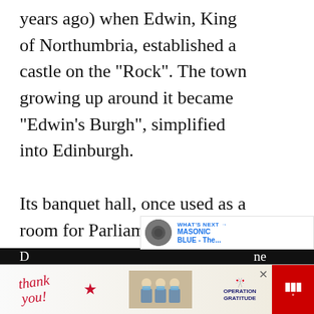years ago) when Edwin, King of Northumbria, established a castle on the "Rock". The town growing up around it became "Edwin's Burgh", simplified into Edinburgh.
Its banquet hall, once used as a room for Parliament, is about 84 ft. x 33 ft and has an open timber roof, 45 ft. high. It was here in 1633, Charles I, and in 1648, Oliver Cromwell were entertained with op[ulence] and great magnificence.
[Figure (screenshot): UI overlay with heart/like button (blue circle with heart icon), share count '3', and share button (gray circle with share icon)]
[Figure (screenshot): WHAT'S NEXT banner with circular thumbnail image and text 'MASONIC BLUE - The...' in blue]
[Figure (screenshot): Advertisement banner at bottom showing 'Thank you!' text with flag/star, nurses holding items, Operation Gratitude logo with flag, and CNN logo area. Close button (x) visible.]
D[uring the visit,] he [was shown t]he